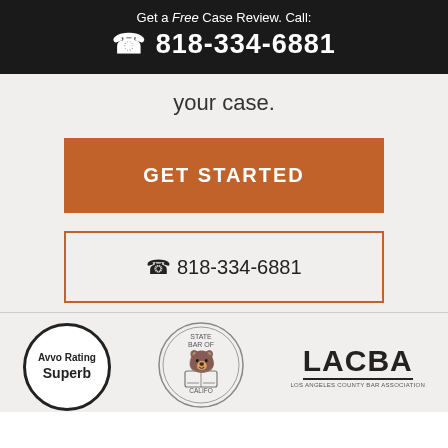Get a Free Case Review. Call: 818-334-6881
your case.
GET STARTED
818-334-6881
[Figure (logo): Avvo Rating Superb circular badge logo]
[Figure (logo): State Bar of California official seal]
[Figure (logo): LACBA Los Angeles County Bar Association logo]